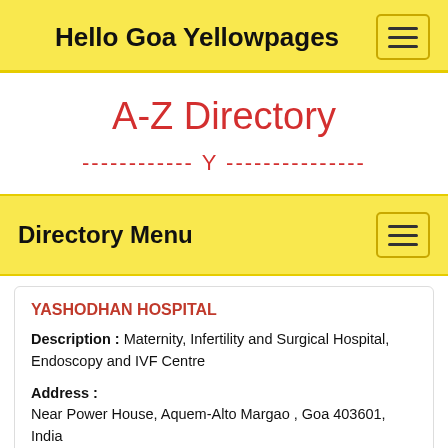Hello Goa Yellowpages
A-Z Directory
------------ Y ---------------
Directory Menu
YASHODHAN HOSPITAL
Description : Maternity, Infertility and Surgical Hospital, Endoscopy and IVF Centre
Address : Near Power House, Aquem-Alto Margao , Goa 403601, India